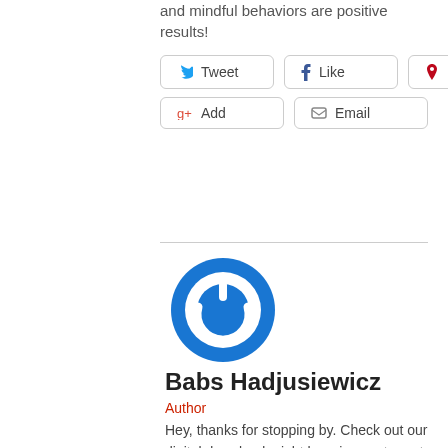and mindful behaviors are positive results!
[Figure (other): Social share buttons: Tweet (Twitter), Like (Facebook), Pin It (Pinterest), Add (Google+), Email]
[Figure (logo): Blue circular power button logo / author avatar for Babs Hadjusiewicz]
Babs Hadjusiewicz
Author
Hey, thanks for stopping by. Check out our digital downloads right here in my store at www.babsyb.com. You'll also find many of my